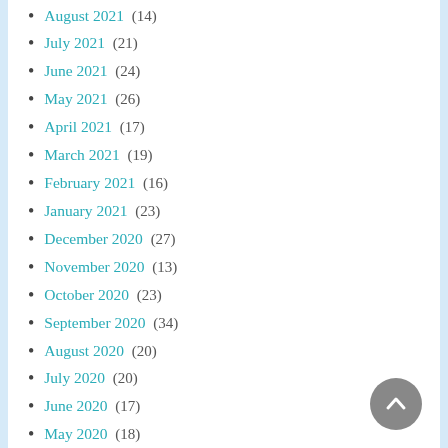August 2021 (14)
July 2021 (21)
June 2021 (24)
May 2021 (26)
April 2021 (17)
March 2021 (19)
February 2021 (16)
January 2021 (23)
December 2020 (27)
November 2020 (13)
October 2020 (23)
September 2020 (34)
August 2020 (20)
July 2020 (20)
June 2020 (17)
May 2020 (18)
April 2020 (19)
March 2020 (19)